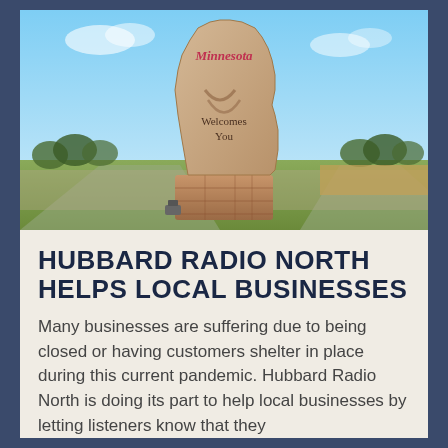[Figure (photo): Outdoor photo of the Minnesota state welcome sign — a large stone monument shaped like the state of Minnesota, with 'Minnesota' written in red cursive script on top, and 'Welcomes You' engraved on the stone. The background shows flat farmland, trees, a road, and a blue sky.]
HUBBARD RADIO NORTH HELPS LOCAL BUSINESSES
Many businesses are suffering due to being closed or having customers shelter in place during this current pandemic. Hubbard Radio North is doing its part to help local businesses by letting listeners know that they